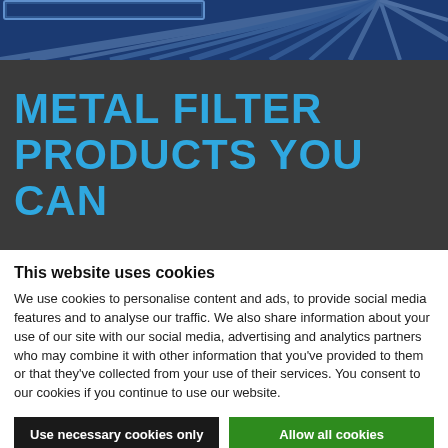[Figure (illustration): Dark blue banner header with radiating light ray pattern in navy/blue tones, with a partial logo visible at top]
METAL FILTER PRODUCTS YOU CAN
This website uses cookies
We use cookies to personalise content and ads, to provide social media features and to analyse our traffic. We also share information about your use of our site with our social media, advertising and analytics partners who may combine it with other information that you've provided to them or that they've collected from your use of their services. You consent to our cookies if you continue to use our website.
Use necessary cookies only
Allow all cookies
Show details